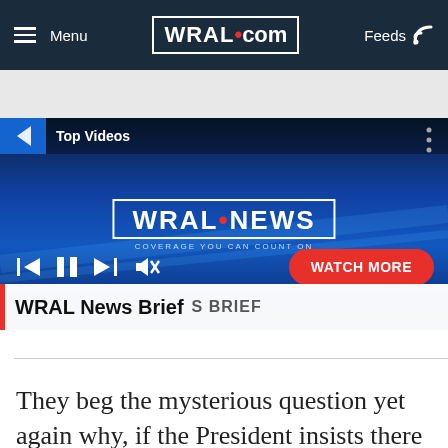Menu | WRAL.com | Feeds
[Figure (screenshot): WRAL News video player showing 'Top Videos' section with WRAL News branding, video controls (skip back, pause, skip forward, mute), a red 'WATCH MORE' button, and a 'WRAL News Brief' label at the bottom.]
They beg the mysterious question yet again why, if the President insists there was no